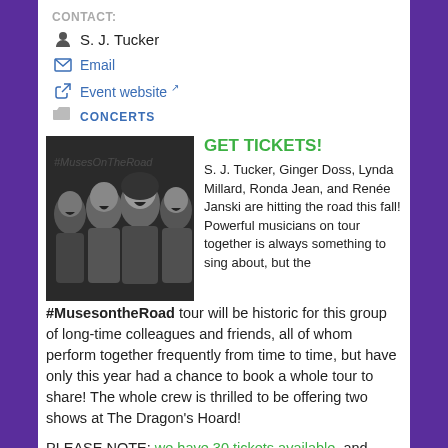CONTACT:
S. J. Tucker
Email
Event website
CONCERTS
[Figure (photo): Black and white photo of four women laughing and singing together, with '#MusesOnTheRoad' text visible in background]
GET TICKETS!
S. J. Tucker, Ginger Doss, Lynda Millard, Ronda Jean, and Renée Janski are hitting the road this fall!  Powerful musicians on tour together is always something to sing about, but the #MusesontheRoad tour will be historic for this group of long-time colleagues and friends, all of whom perform together frequently from time to time, but have only this year had a chance to book a whole tour to share!  The whole crew is thrilled to be offering two shows at The Dragon's Hoard!
PLEASE NOTE:  we have 30 tickets available, and bringing your own chair along just in case is advised.  Seating will open at 6:45pm on the evening of the